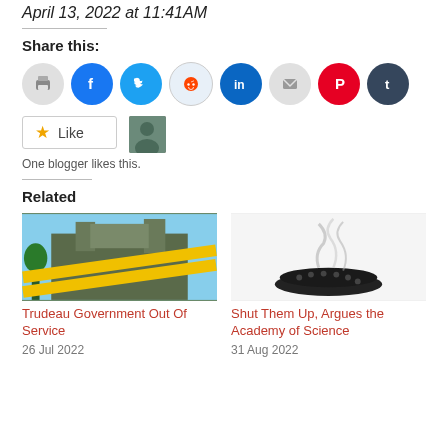April 13, 2022 at 11:41AM
Share this:
[Figure (infographic): Row of social sharing icon circles: print (gray), Facebook (blue), Twitter (cyan), Reddit (light blue), LinkedIn (dark teal), Email (gray), Pinterest (red), Tumblr (dark navy)]
[Figure (infographic): Like button widget with star icon and Like text, and a small avatar photo next to it]
One blogger likes this.
Related
[Figure (photo): Photo of a parliament/cathedral building with yellow OUT OF SERVICE crime tape overlay]
Trudeau Government Out Of Service
26 Jul 2022
[Figure (photo): Photo of a smoking censer or incense burner against white background]
Shut Them Up, Argues the Academy of Science
31 Aug 2022